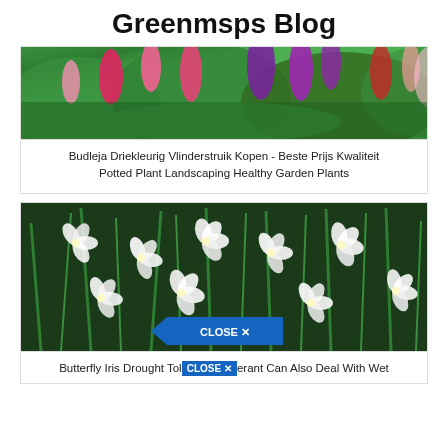Greenmsps Blog
[Figure (photo): Colorful butterfly bush (Buddleja) with pink, purple, and red flower spikes among green foliage]
Budleja Driekleurig Vlinderstruik Kopen - Beste Prijs Kwaliteit Potted Plant Landscaping Healthy Garden Plants
[Figure (photo): White Butterfly Iris flowers (Dietes) with dark green grass-like foliage in a garden setting]
Butterfly Iris Drought Tolerant Can Also Deal With Wet